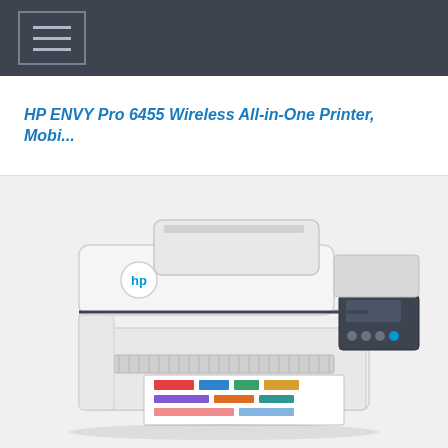Navigation menu icon (hamburger)
HP ENVY Pro 6455 Wireless All-in-One Printer, Mobi...
[Figure (photo): HP ENVY Pro 6455 Wireless All-in-One Printer, white color, shown from front-left angle with paper tray open and colorful printed pages visible. The printer has an automatic document feeder on top and a control panel on the right side.]